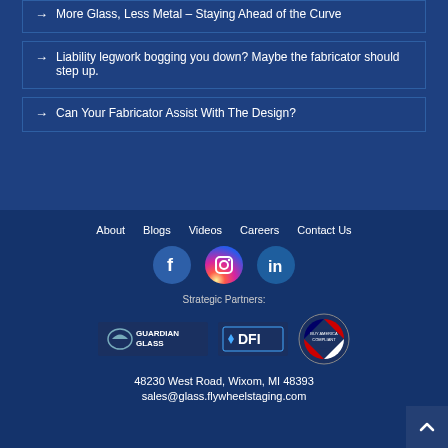→ More Glass, Less Metal – Staying Ahead of the Curve
→ Liability legwork bogging you down? Maybe the fabricator should step up.
→ Can Your Fabricator Assist With The Design?
About  Blogs  Videos  Careers  Contact Us
[Figure (logo): Facebook, Instagram, LinkedIn social media icons]
Strategic Partners:
[Figure (logo): Guardian Glass logo, DFI logo, Buy America Compliant badge]
48230 West Road, Wixom, MI 48393
sales@glass.flywheelstaging.com